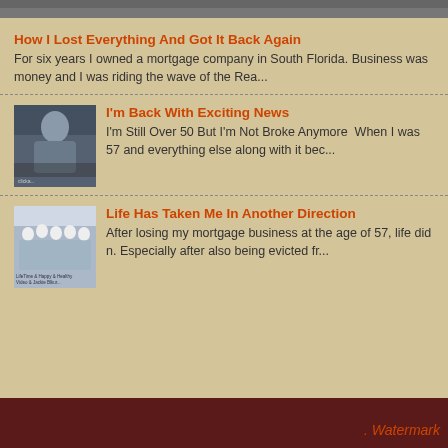[Figure (photo): Top strip showing partial image, dark/gray tones]
How I Lost Everything And Got It Back Again
For six years I owned a mortgage company in South Florida. Business was money and I was riding the wave of the Rea...
[Figure (photo): Thumbnail of a man in black shirt seated in a room with furniture]
I'm Back With Exciting News
I'm Still Over 50 But I'm Not Broke Anymore  When I was 57 and everything else along with it bec...
[Figure (photo): Thumbnail showing a group of people (family) running or jumping]
Life Has Taken Me In Another Direction
After losing my mortgage business at the age of 57, life did n. Especially after also being evicted fr...
. Watermark